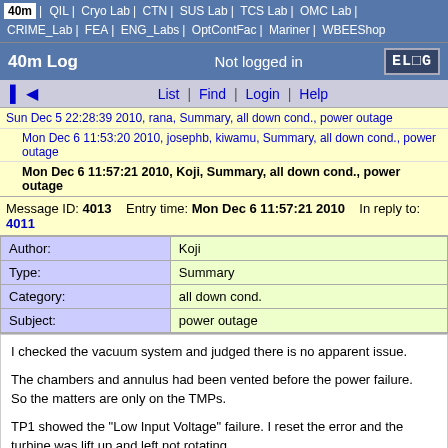40m | QIL | Cryo Lab | CTN | SUS Lab | TCS Lab | OMC Lab | CRIME_Lab | FEA | ENG_Labs | OptContFac | Mariner | WBEEShop
40m Log   Not logged in   ELOG
List | Find | Login | Help
Sun Dec 5 22:28:39 2010, rana, Summary, all down cond., power outage
Mon Dec 6 11:53:20 2010, josephb, kiwamu, Summary, all down cond., power outage
Mon Dec 6 11:57:21 2010, Koji, Summary, all down cond., power outage
Message ID: 4013   Entry time: Mon Dec 6 11:57:21 2010   In reply to: 4011
| Field | Value |
| --- | --- |
| Author: | Koji |
| Type: | Summary |
| Category: | all down cond. |
| Subject: | power outage |
I checked the vacuum system and judged there is no apparent issue.

The chambers and annulus had been vented before the power failure.
So the matters are only on the TMPs.

TP1 showed the "Low Input Voltage" failure. I reset the error and the turbine was lift up and left not rotating.
TP2 and TP3 seem rotating at 50KRPM and the each lines show low pressur (~1e-7)
although I did not find the actual TP2/TP3 themselves.